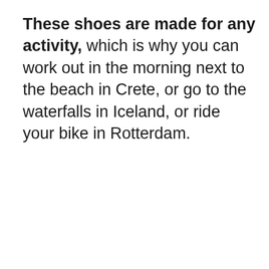These shoes are made for any activity, which is why you can work out in the morning next to the beach in Crete, or go to the waterfalls in Iceland, or ride your bike in Rotterdam.